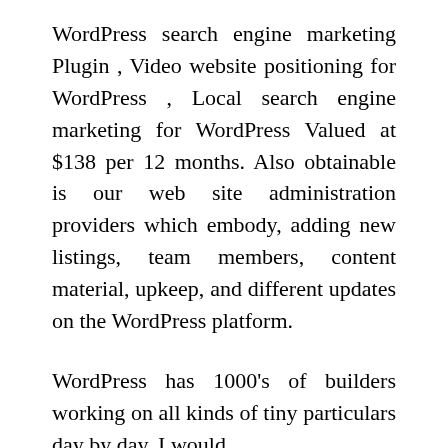WordPress search engine marketing Plugin , Video website positioning for WordPress , Local search engine marketing for WordPress Valued at $138 per 12 months. Also obtainable is our web site administration providers which embody, adding new listings, team members, content material, upkeep, and different updates on the WordPress platform.
WordPress has 1000's of builders working on all kinds of tiny particulars day by day. I would